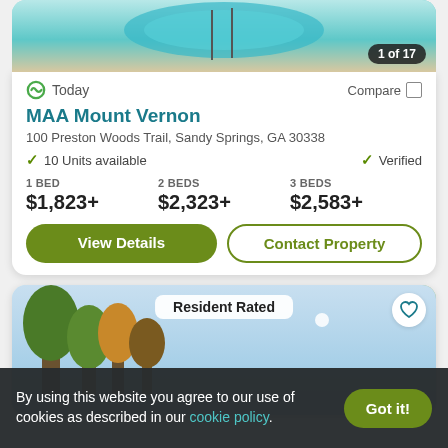[Figure (photo): Pool/patio area photo at top of listing card, with badge '1 of 17']
Today
Compare
MAA Mount Vernon
100 Preston Woods Trail, Sandy Springs, GA 30338
10 Units available
Verified
1 BED
$1,823+
2 BEDS
$2,323+
3 BEDS
$2,583+
View Details
Contact Property
[Figure (photo): Second listing card photo showing trees and sky with 'Resident Rated' badge and heart icon]
By using this website you agree to our use of cookies as described in our cookie policy.
Got it!